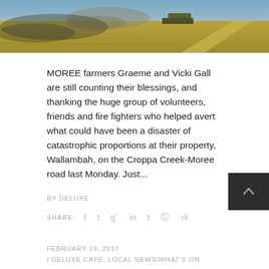[Figure (photo): Partial view of a farm field with a vehicle and dust/smoke, dry grass and road visible. Top of image cropped.]
MOREE farmers Graeme and Vicki Gall are still counting their blessings, and thanking the huge group of volunteers, friends and fire fighters who helped avert what could have been a disaster of catastrophic proportions at their property, Wallambah, on the Croppa Creek-Moree road last Monday. Just...
BY DELUXE
SHARE:  f  t  g+  in  t  p  vk
FEBRUARY 19, 2017
/ DELUXE CAFE, LOCAL NEWS/WHAT'S ON
From road-trains to catwalks – it's